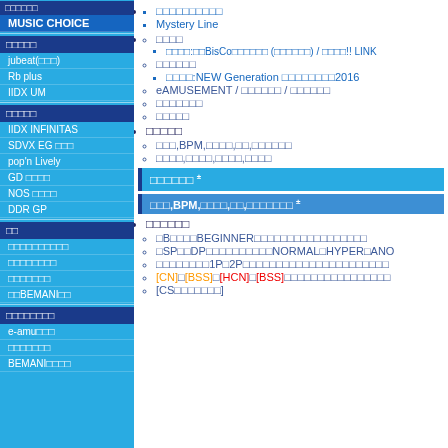MUSIC CHOICE sidebar navigation
□□□□□□□□□□
Mystery Line
□□□□
□□□□:□□BisCo□□□□□□ (□□□□□□) / □□□□!! LINK
□□□□□□
□□□□:NEW Generation □□□□□□□□2016
eAMUSEMENT / □□□□□□ / □□□□□□
□□□□□□□
□□□□□
□□□□□
□□□,BPM,□□□□,□□,□□□□□□
□□□□,□□□□,□□□□,□□□□
□□□□□□ ±
□□□,BPM,□□□□,□□,□□□□□□□ ±
□□□□□□
□B□□□□BEGINNER□□□□□□□□□□□□□□□□□
□SP□□DP□□□□□□□□□□NORMAL□HYPER□ANO
□□□□□□□□1P□2P□□□□□□□□□□□□□□□□□□□□□□
[CN]□[BSS]□[HCN]□[BSS]□□□□□□□□□□□□□□□□
[CS□□□□□□□]